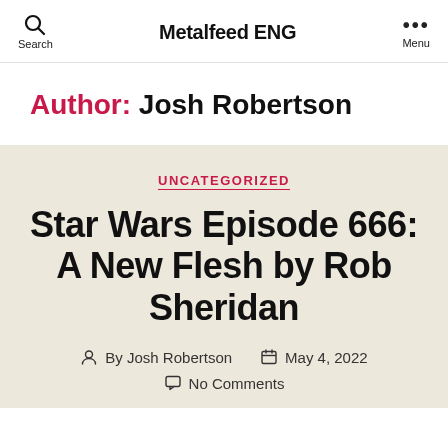Metalfeed ENG
Author: Josh Robertson
UNCATEGORIZED
Star Wars Episode 666: A New Flesh by Rob Sheridan
By Josh Robertson   May 4, 2022
No Comments